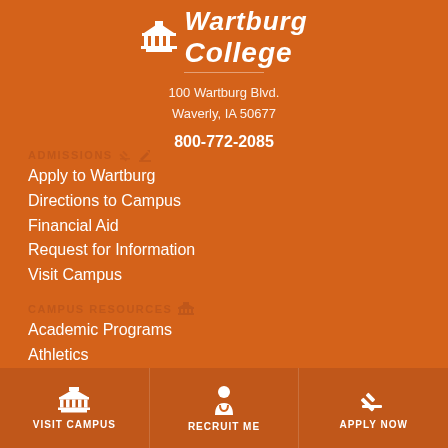[Figure (logo): Wartburg College logo with building icon and college name]
100 Wartburg Blvd.
Waverly, IA 50677
800-772-2085
ADMISSIONS
Apply to Wartburg
Directions to Campus
Financial Aid
Request for Information
Visit Campus
CAMPUS RESOURCES
Academic Programs
Athletics
Summer Camps
Vogel Library
VISIT CAMPUS
RECRUIT ME
APPLY NOW